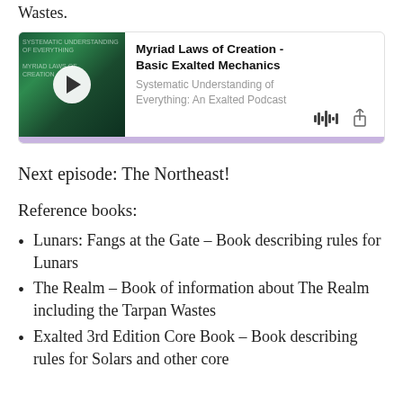Wastes.
[Figure (screenshot): Podcast player card showing 'Myriad Laws of Creation - Basic Exalted Mechanics' from 'Systematic Understanding of Everything: An Exalted Podcast', with a green album art thumbnail, play button, waveform icon, share icon, and purple progress bar.]
Next episode: The Northeast!
Reference books:
Lunars: Fangs at the Gate – Book describing rules for Lunars
The Realm – Book of information about The Realm including the Tarpan Wastes
Exalted 3rd Edition Core Book – Book describing rules for Solars and other core